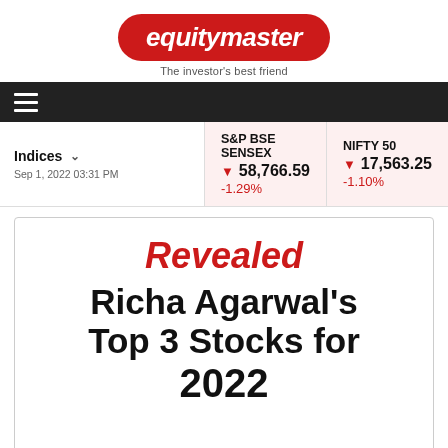[Figure (logo): Equitymaster logo - red rounded rectangle badge with white italic bold text 'equitymaster' and tagline 'The investor's best friend' below]
[Figure (screenshot): Dark navigation bar with hamburger menu icon (three white horizontal lines)]
| Indices | S&P BSE SENSEX | NIFTY 50 |
| --- | --- | --- |
| Sep 1, 2022 03:31 PM | ▼ 58,766.59
-1.29% | ▼ 17,563.25
-1.10% |
Revealed
Richa Agarwal's Top 3 Stocks for 2022